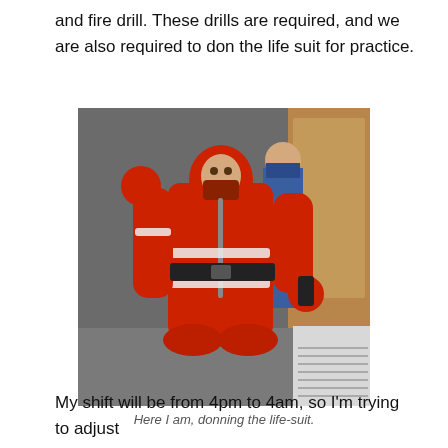and fire drill. These drills are required, and we are also required to don the life suit for practice.
[Figure (photo): Person wearing a bright red immersion/survival life-suit (dry suit), standing in a ship corridor. Another person in a blue jumpsuit is visible in the background.]
Here I am, donning the life-suit.
My shift will be from 4pm to 4am, so I'm trying to adjust